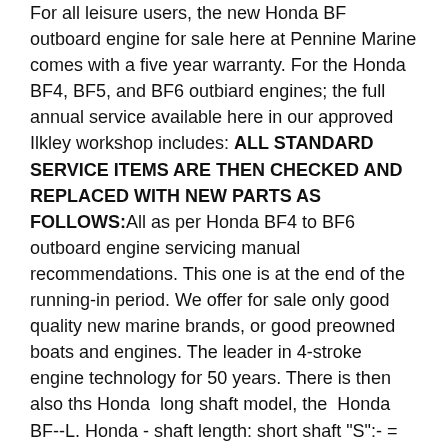For all leisure users, the new Honda BF outboard engine for sale here at Pennine Marine comes with a five year warranty. For the Honda BF4, BF5, and BF6 outbiard engines; the full annual service available here in our approved Ilkley workshop includes: ALL STANDARD SERVICE ITEMS ARE THEN CHECKED AND REPLACED WITH NEW PARTS AS FOLLOWS:All as per Honda BF4 to BF6 outboard engine servicing manual recommendations. This one is at the end of the running-in period. We offer for sale only good quality new marine brands, or good preowned boats and engines. The leader in 4-stroke engine technology for 50 years. There is then also ths Honda  long shaft model, the  Honda BF--L. Honda - shaft length: short shaft "S":- = 434mm, Honda - shaft length : long shaft "L" = 561mm, Starting System: Manual pull cord (recoil), Full throttle Operating range - 4hp & 5hp - 4,500 to 5,500rpm, Full Throttle Operating Range: 6hp - 5,000 to 6,000rpm, Trim Method: Manual Trim and Tilt: 5 stages. The short (S) shaft version - BF--S model -which has been around for years and is the best seller.   Please allow us a few days to prepare your